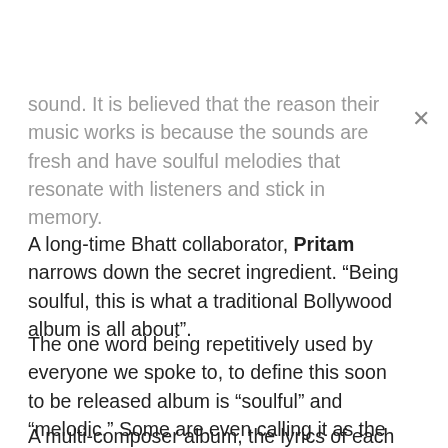sound. It is believed that the reason their music works is because the sounds are fresh and have soulful melodies that resonate with listeners and stick in memory.
A long-time Bhatt collaborator, Pritam narrows down the secret ingredient. “Being soulful, this is what a traditional Bollywood album is all about”.
The one word being repetitively used by everyone we spoke to, to define this soon to be released album is “soulful” and “melodic.” Some are even calling it as the surprise album of the year.
A multi-composer album, the lyrics of each of the songs